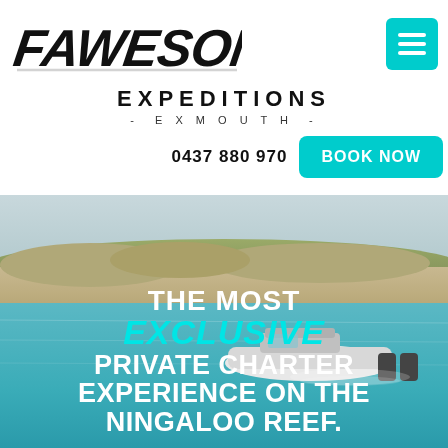[Figure (logo): Fawesome Expeditions Exmouth logo with stylized graffiti-style text]
0437 880 970
BOOK NOW
[Figure (photo): Aerial view of a boat on turquoise water near a sandy beach with dunes and scrubby vegetation]
THE MOST EXCLUSIVE PRIVATE CHARTER EXPERIENCE ON THE NINGALOO REEF.